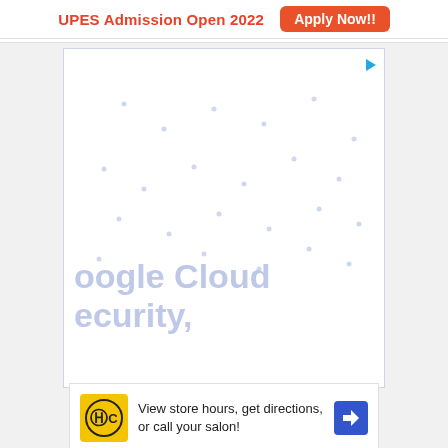[Figure (screenshot): UPES Admission Open 2022 banner with Apply Now button]
[Figure (screenshot): Google Cloud Security advertisement placeholder with dot pattern and partial text 'oogle Cloud ecurity,']
[Figure (screenshot): HC salon advertisement: 'View store hours, get directions, or call your salon!' with HC logo and navigation arrow icon]